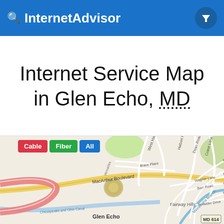InternetAdvisor
Internet Service Map in Glen Echo, MD
[Figure (map): Street map of Glen Echo, MD showing MacArthur Boulevard, West Halbert Road, Brace Place, Rannoch Road, Dean Road, Crane Lane, Wagner Lane, Barr Road, Benalder Drive, Fairway Hills neighborhood, Glen Terrace, Minnehaha Branch waterway, Chesapeake and Ohio Canal, and route MD 614. Map includes filter buttons for Cable (red), Fiber (green), and All (blue).]